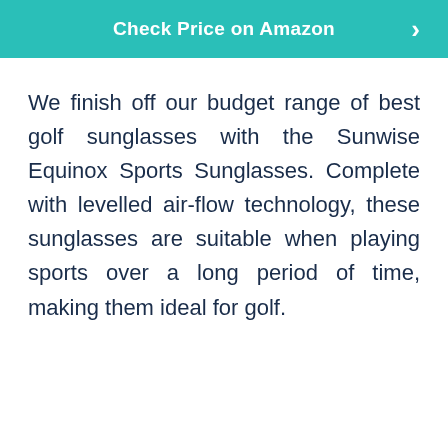[Figure (other): Teal/turquoise button banner with white bold text 'Check Price on Amazon' and a right-pointing chevron arrow on the right side]
We finish off our budget range of best golf sunglasses with the Sunwise Equinox Sports Sunglasses. Complete with levelled air-flow technology, these sunglasses are suitable when playing sports over a long period of time, making them ideal for golf.